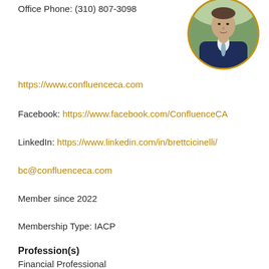Office Phone: (310) 807-3098
[Figure (photo): Circular profile photo of a man in a navy blue suit and light blue tie, outdoors with green background]
https://www.confluenceca.com
Facebook: https://www.facebook.com/ConfluenceCA
LinkedIn: https://www.linkedin.com/in/brettcicinelli/
bc@confluenceca.com
Member since 2022
Membership Type: IACP
Profession(s)
Financial Professional